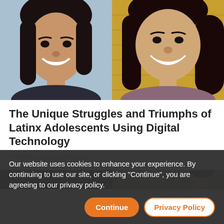[Figure (photo): Two photos side by side: left shows a young Latina woman with shoulder-length dark hair smiling, wearing a dark top; right shows another young Latina woman with long wavy dark hair smiling in front of a yellow brick wall, wearing a mauve top.]
The Unique Struggles and Triumphs of Latinx Adolescents Using Digital Technology
Women Change Worlds
[Figure (photo): Partial view of a second article's thumbnail image — dark left half and person visible on right half.]
Our website uses cookies to enhance your experience. By continuing to use our site, or clicking "Continue", you are agreeing to our privacy policy.